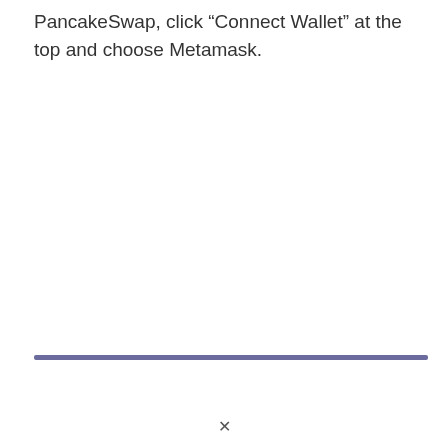PancakeSwap, click “Connect Wallet” at the top and choose Metamask.